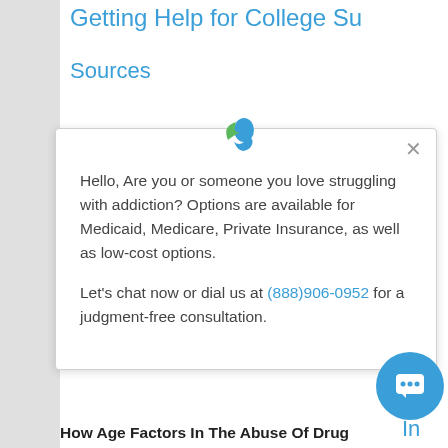Getting Help for College Su...
Sources
[Figure (screenshot): Chat popup widget from an addiction help service. Shows a logo (green leaf and blue person icon), a close X button, and a message: 'Hello, Are you or someone you love struggling with addiction? Options are available for Medicaid, Medicare, Private Insurance, as well as low-cost options. Let's chat now or dial us at (888)906-0952 for a judgment-free consultation.' A blue circular chat button appears at the bottom right.]
How Age Factors In The Abuse Of Drug...